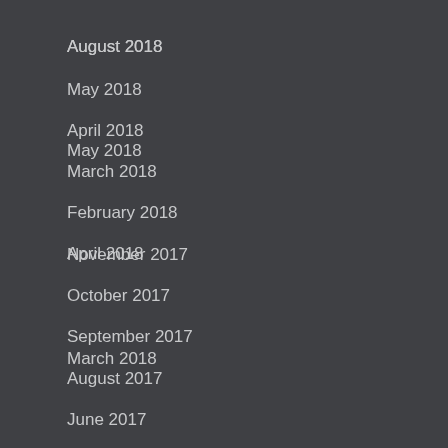August 2018
May 2018
April 2018
March 2018
February 2018
November 2017
October 2017
September 2017
August 2017
June 2017